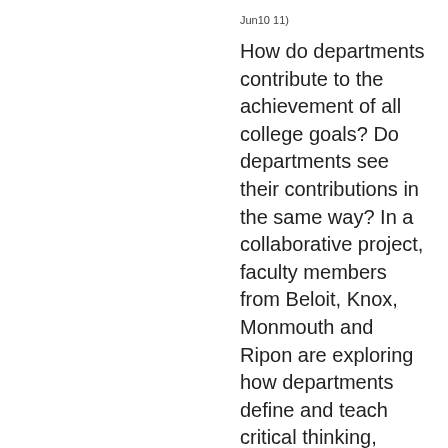Jun10 11)
How do departments contribute to the achievement of all college goals? Do departments see their contributions in the same way? In a collaborative project, faculty members from Beloit, Knox, Monmouth and Ripon are exploring how departments define and teach critical thinking, quantitative reasoning and civic engagement, and how they measure the successes of students in reaching their educational goals. As expected, quantitative reasoning in Philosophy differs from that in Mathematics, but what about critical thinking? We will discuss some of our experiences and findings, and identify issues that are important in our ongoing efforts at